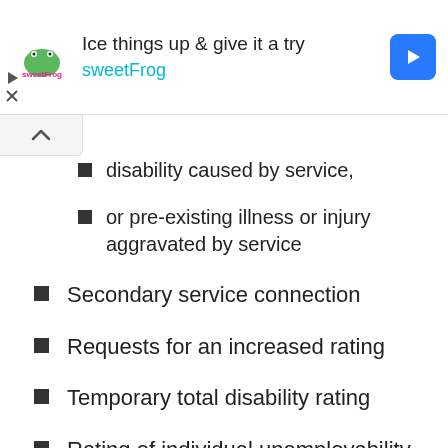[Figure (screenshot): Advertisement banner for sweetFrog frozen yogurt with logo, tagline 'Ice things up & give it a try', brand name in cyan, and blue navigation diamond icon]
disability caused by service,
or pre-existing illness or injury aggravated by service
Secondary service connection
Requests for an increased rating
Temporary total disability rating
Rating of individual unemployability
Disability compensation for an injury